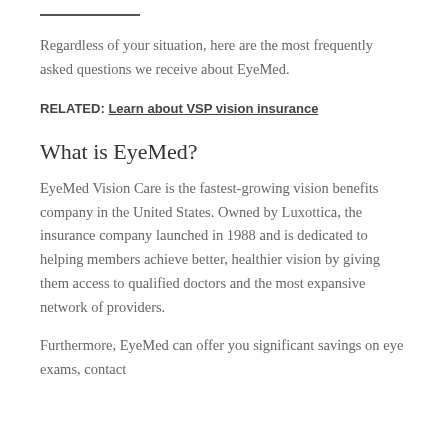Regardless of your situation, here are the most frequently asked questions we receive about EyeMed.
RELATED: Learn about VSP vision insurance
What is EyeMed?
EyeMed Vision Care is the fastest-growing vision benefits company in the United States. Owned by Luxottica, the insurance company launched in 1988 and is dedicated to helping members achieve better, healthier vision by giving them access to qualified doctors and the most expansive network of providers.
Furthermore, EyeMed can offer you significant savings on eye exams, contact